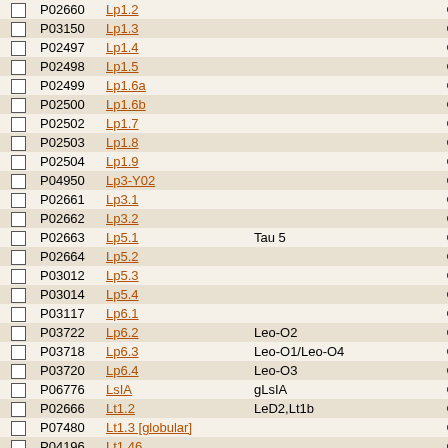|  | ID | Name | Alias | Source |
| --- | --- | --- | --- | --- |
| ☐ | P02660 | Lp1.2 |  | Conus |
| ☐ | P03150 | Lp1.3 |  | Conus |
| ☐ | P02497 | Lp1.4 |  | Conus |
| ☐ | P02498 | Lp1.5 |  | Conus |
| ☐ | P02499 | Lp1.6a |  | Conus |
| ☐ | P02500 | Lp1.6b |  | Conus |
| ☐ | P02502 | Lp1.7 |  | Conus |
| ☐ | P02503 | Lp1.8 |  | Conus |
| ☐ | P02504 | Lp1.9 |  | Conus |
| ☐ | P04950 | Lp3-Y02 |  | Conus |
| ☐ | P02661 | Lp3.1 |  | Conus |
| ☐ | P02662 | Lp3.2 |  | Conus |
| ☐ | P02663 | Lp5.1 | Tau 5 | Conus |
| ☐ | P02664 | Lp5.2 |  | Conus |
| ☐ | P03012 | Lp5.3 |  | Conus |
| ☐ | P03014 | Lp5.4 |  | Conus |
| ☐ | P03117 | Lp6.1 |  | Conus |
| ☐ | P03722 | Lp6.2 | Leo-O2 | Conus |
| ☐ | P03718 | Lp6.3 | Leo-O1/Leo-O4 | Conus |
| ☐ | P03720 | Lp6.4 | Leo-O3 | Conus |
| ☐ | P06776 | LsIA | gLsIA | Conus |
| ☐ | P02666 | Lt1.2 | LeD2,Lt1b | Conus |
| ☐ | P07480 | Lt1.3 [globular] |  | Conus |
| ☐ | P04196 | Lt1.46 |  | Conus |